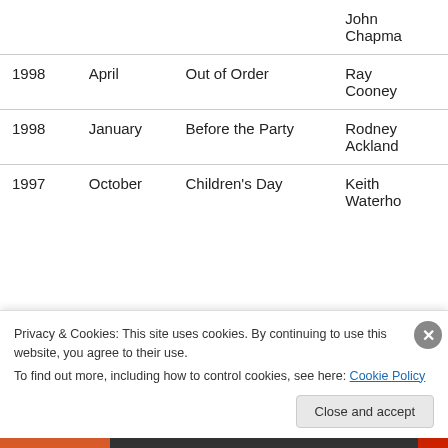| Year | Month | Title | Author |
| --- | --- | --- | --- |
|  |  |  | John Chapman |
| 1998 | April | Out of Order | Ray Cooney |
| 1998 | January | Before the Party | Rodney Ackland |
| 1997 | October | Children's Day | Keith Waterho… |
Privacy & Cookies: This site uses cookies. By continuing to use this website, you agree to their use. To find out more, including how to control cookies, see here: Cookie Policy